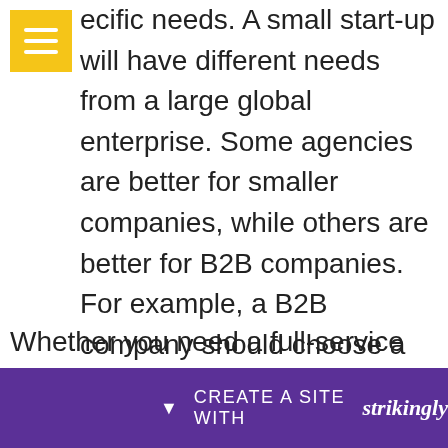[Figure (other): Yellow hamburger menu icon button in top-left corner]
ecific needs. A small start-up will have different needs from a large global enterprise. Some agencies are better for smaller companies, while others are better for B2B companies. For example, a B2B company should choose a service provider that matches its requirements. While it may seem simple to choose a service provider, the best service provider will meet your needs and budget.
Whether you need a full-service agency or a small-scale digital marketing agency, you can be assured that profe
[Figure (other): Strikingly website builder promotional bar with purple background showing 'CREATE A SITE WITH strikingly']